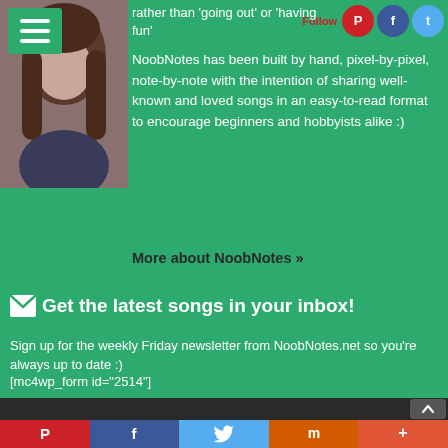[Figure (photo): Profile photo of a woman with brown hair, with a green menu icon overlay in top-left corner]
rather than 'going out' or 'having fun'
NoobNotes has been built by hand, pixel-by-pixel, note-by-note with the intention of sharing well-known and loved songs in an easy-to-read format to encourage beginners and hobbyists alike :)
More about NoobNotes »
✉  Get the latest songs in your inbox!
Sign up for the weekly Friday newsletter from NoobNotes.net so you're always up to date :)
[mc4wp_form id="2514"]
Pinterest | Facebook | Twitter | Mix | More